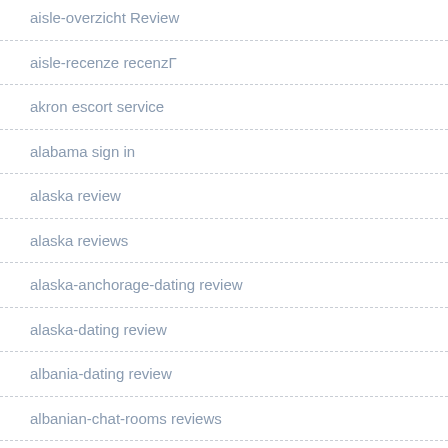aisle-overzicht Review
aisle-recenze recenzΓ
akron escort service
alabama sign in
alaska review
alaska reviews
alaska-anchorage-dating review
alaska-dating review
albania-dating review
albanian-chat-rooms reviews